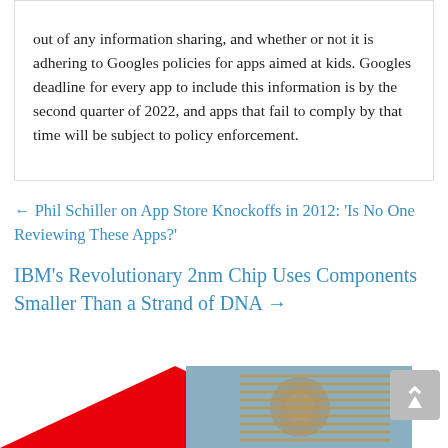out of any information sharing, and whether or not it is adhering to Googles policies for apps aimed at kids. Googles deadline for every app to include this information is by the second quarter of 2022, and apps that fail to comply by that time will be subject to policy enforcement.
← Phil Schiller on App Store Knockoffs in 2012: 'Is No One Reviewing These Apps?'
IBM's Revolutionary 2nm Chip Uses Components Smaller Than a Strand of DNA →
[Figure (photo): Partial image showing a red downward-pointing triangle on the left and a photograph of an electric motor or alternator component (copper windings visible) on the right, plus a scroll-to-top arrow button.]